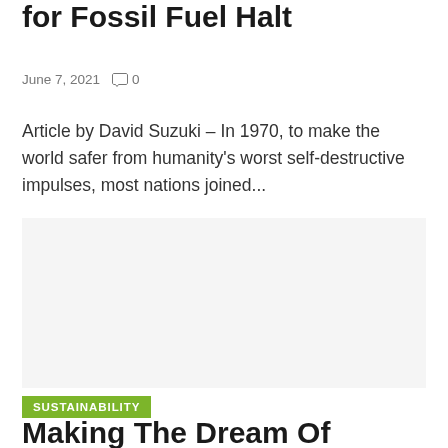for Fossil Fuel Halt
June 7, 2021   0
Article by David Suzuki – In 1970, to make the world safer from humanity's worst self-destructive impulses, most nations joined...
[Figure (photo): Image placeholder for article about fossil fuel halt]
SUSTAINABILITY
Making The Dream Of Sustainable